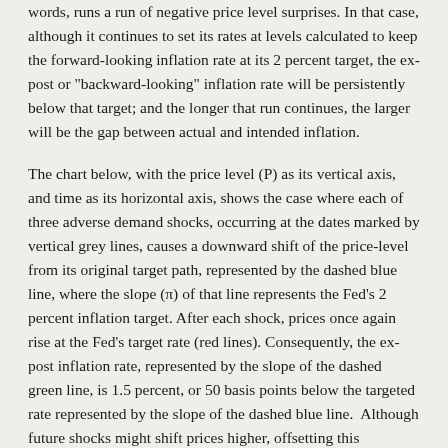words, runs a run of negative price level surprises. In that case, although it continues to set its rates at levels calculated to keep the forward-looking inflation rate at its 2 percent target, the ex-post or "backward-looking" inflation rate will be persistently below that target; and the longer that run continues, the larger will be the gap between actual and intended inflation.
The chart below, with the price level (P) as its vertical axis, and time as its horizontal axis, shows the case where each of three adverse demand shocks, occurring at the dates marked by vertical grey lines, causes a downward shift of the price-level from its original target path, represented by the dashed blue line, where the slope (π) of that line represents the Fed's 2 percent inflation target. After each shock, prices once again rise at the Fed's target rate (red lines). Consequently, the ex-post inflation rate, represented by the slope of the dashed green line, is 1.5 percent, or 50 basis points below the targeted rate represented by the slope of the dashed blue line.  Although future shocks might shift prices higher, offsetting this undershooting, there's no reason to suppose that they're bound to do so.